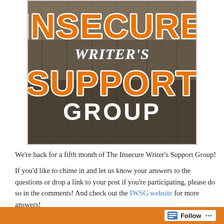[Figure (logo): Insecure Writer's Support Group logo. Orange bold text 'INSECURE' at top, white cursive 'WRITER'S' in middle, orange bold 'SUPPORT' below, white bold 'GROUP' at bottom. Background is a dark grayscale photo of a building structure.]
We're back for a fifth month of The Insecure Writer's Support Group!
If you'd like to chime in and let us know your answers to the questions or drop a link to your post if you're participating, please do so in the comments! And check out the IWSG website for more answers!
Follow ...